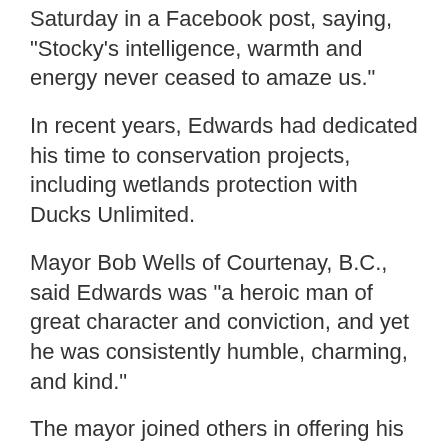Saturday in a Facebook post, saying, "Stocky's intelligence, warmth and energy never ceased to amaze us."
In recent years, Edwards had dedicated his time to conservation projects, including wetlands protection with Ducks Unlimited.
Mayor Bob Wells of Courtenay, B.C., said Edwards was "a heroic man of great character and conviction, and yet he was consistently humble, charming, and kind."
The mayor joined others in offering his condolences to the war veteran's wife, Toni, and their family.
A funeral is expected to be held at Christ the King Catholic Church in Courtenay.